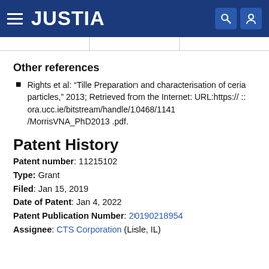JUSTIA
Other references
Rights et al: “Tille Preparation and characterisation of ceria particles,” 2013; Retrieved from the Internet: URL:https:// :: ora.ucc.ie/bitstream/handle/10468/1141 /MorrisVNA_PhD2013 .pdf.
Patent History
Patent number: 11215102
Type: Grant
Filed: Jan 15, 2019
Date of Patent: Jan 4, 2022
Patent Publication Number: 20190218954
Assignee: CTS Corporation (Lisle, IL)